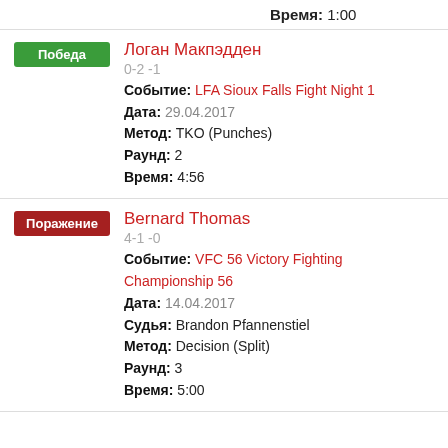Время: 1:00
Победа — Логан Макпэдден, 0-2 -1, Событие: LFA Sioux Falls Fight Night 1, Дата: 29.04.2017, Метод: TKO (Punches), Раунд: 2, Время: 4:56
Поражение — Bernard Thomas, 4-1 -0, Событие: VFC 56 Victory Fighting Championship 56, Дата: 14.04.2017, Судья: Brandon Pfannenstiel, Метод: Decision (Split), Раунд: 3, Время: 5:00